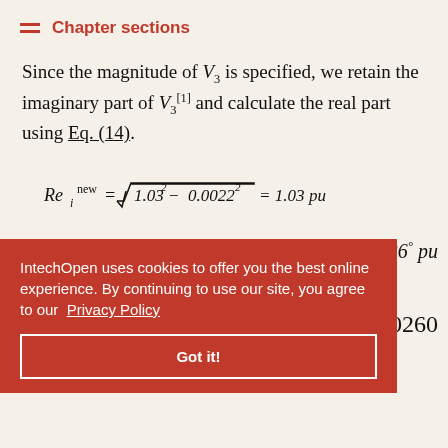Chapter sections
Since the magnitude of V_3 is specified, we retain the imaginary part of V_3^[1] and calculate the real part using Eq. (14).
Therefore,
226° pu
0 − j0.0260
and V_3   1.03   j0.0022.